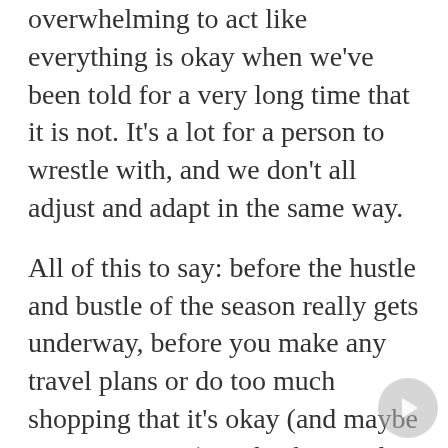overwhelming to act like everything is okay when we've been told for a very long time that it is not. It's a lot for a person to wrestle with, and we don't all adjust and adapt in the same way.
All of this to say: before the hustle and bustle of the season really gets underway, before you make any travel plans or do too much shopping that it's okay (and maybe even necessary) to check in with yourself first. How are you feeling physically? Emotionally? Where are you in pain? Where do you feel the most healthy? There is nothing wrong with going slowly, if you need to. There is nothing wrong with taking some time to think about what you